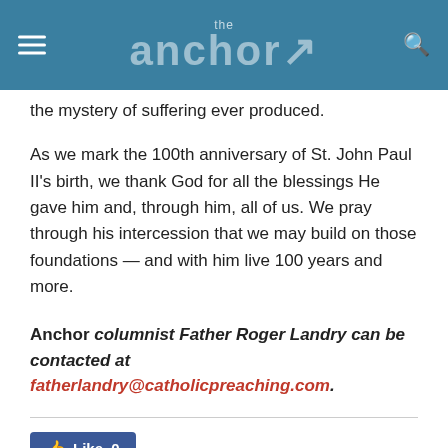the anchor
the mystery of suffering ever produced.
As we mark the 100th anniversary of St. John Paul II's birth, we thank God for all the blessings He gave him and, through him, all of us. We pray through his intercession that we may build on those foundations — and with him live 100 years and more.
Anchor columnist Father Roger Landry can be contacted at fatherlandry@catholicpreaching.com.
[Figure (other): Like button and social sharing buttons: Facebook, Twitter, Pinterest, WhatsApp]